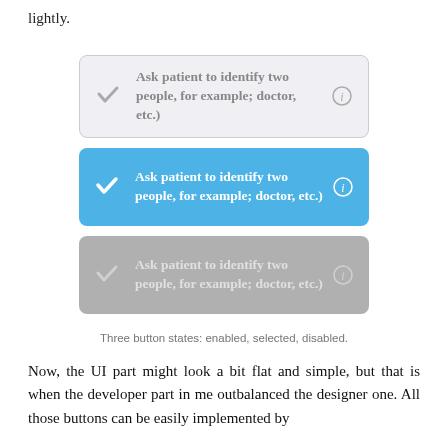lightly.
[Figure (screenshot): Three UI button states shown as rectangles: (1) Enabled state — light gray background with gray checkmark and gray text 'Ask patient to identify two people, for example; doctor, etc.)' and info icon; (2) Selected state — blue background with white checkmark and white bold text same label and info icon; (3) Disabled state — gray background with faint checkmark and light text same label and info icon.]
Three button states: enabled, selected, disabled.
Now, the UI part might look a bit flat and simple, but that is when the developer part in me outbalanced the designer one. All those buttons can be easily implemented by